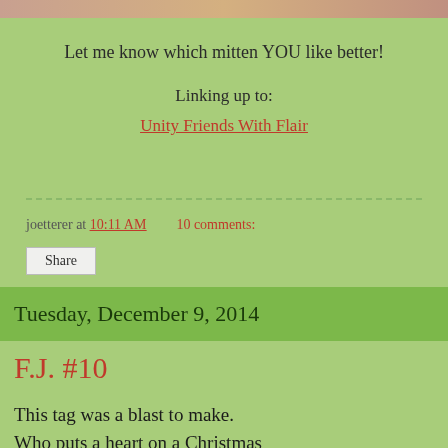[Figure (photo): Top strip of a decorative image, partially visible]
Let me know which mitten YOU like better!
Linking up to:
Unity Friends With Flair
joetterer at 10:11 AM    10 comments:
Share
Tuesday, December 9, 2014
F.J. #10
This tag was a blast to make. Who puts a heart on a Christmas tag?? What a great idea, thanks